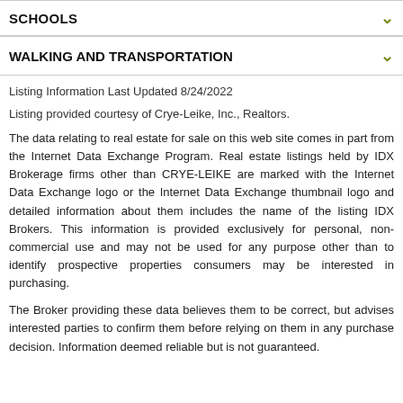SCHOOLS
WALKING AND TRANSPORTATION
Listing Information Last Updated 8/24/2022
Listing provided courtesy of Crye-Leike, Inc., Realtors.
The data relating to real estate for sale on this web site comes in part from the Internet Data Exchange Program. Real estate listings held by IDX Brokerage firms other than CRYE-LEIKE are marked with the Internet Data Exchange logo or the Internet Data Exchange thumbnail logo and detailed information about them includes the name of the listing IDX Brokers. This information is provided exclusively for personal, non-commercial use and may not be used for any purpose other than to identify prospective properties consumers may be interested in purchasing.
The Broker providing these data believes them to be correct, but advises interested parties to confirm them before relying on them in any purchase decision. Information deemed reliable but is not guaranteed.